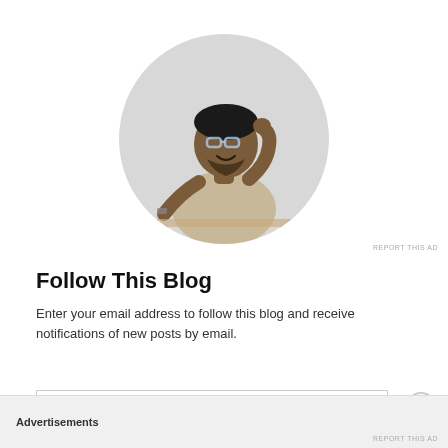[Figure (photo): Circular cropped photo of a young Black man with glasses, wearing a beige t-shirt, sitting at a desk and looking upward thoughtfully with his hand near his chin]
Follow This Blog
Enter your email address to follow this blog and receive notifications of new posts by email.
Enter your email address
Advertisements